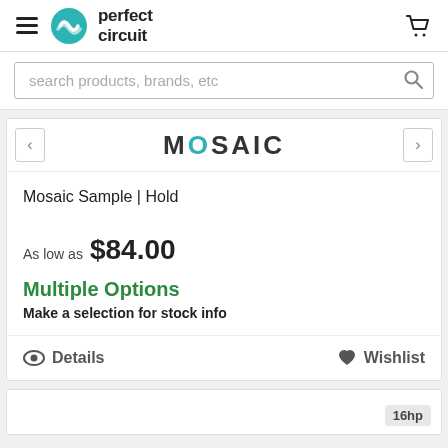perfect circuit
search products, brands, etc
[Figure (logo): Mosaic logo text partially visible]
Mosaic Sample | Hold
As low as $84.00
Multiple Options
Make a selection for stock info
Details   Wishlist
16hp